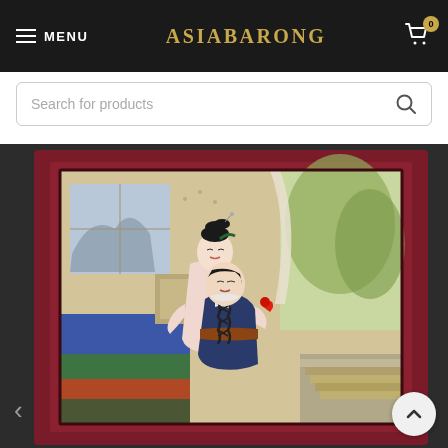MENU | ASIABARONG | Cart 0
Search for products
[Figure (photo): A framed Chinese or East Asian painting in a dark wooden frame showing two figures — a woman with an elaborate black hair updo embracing a man, both in traditional robes, set in an interior scene with a blue/green garden backdrop and architectural elements.]